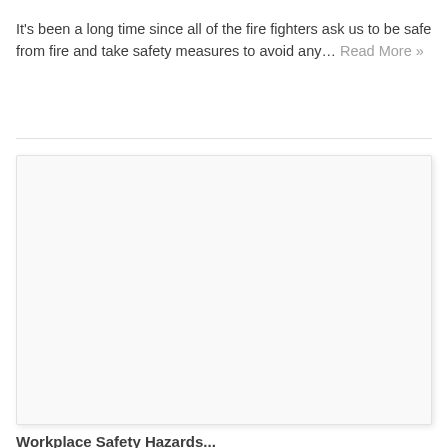It's been a long time since all of the fire fighters ask us to be safe from fire and take safety measures to avoid any… Read More »
[Figure (photo): A large white/blank rectangular image placeholder with light gray border and subtle drop shadow.]
Workplace Safety Hazards...